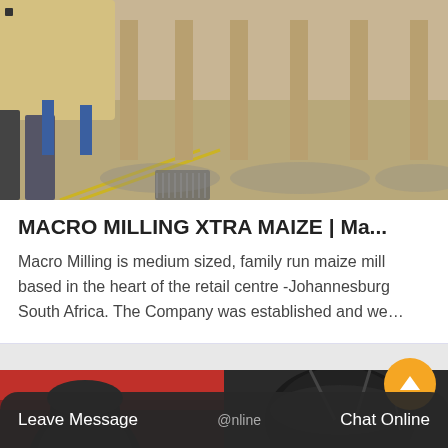[Figure (photo): Outdoor photo of industrial milling equipment/trucks parked on a concrete floor casting shadows, yellow markings on ground]
MACRO MILLING XTRA MAIZE | Ma...
Macro Milling is medium sized, family run maize mill based in the heart of the retail centre -Johannesburg South Africa. The Company was established and we…
[Figure (photo): Interior photo of milling machinery — dark large industrial silos/grinders inside a red-walled building]
Chat
Leave Message   @nline   Chat Online